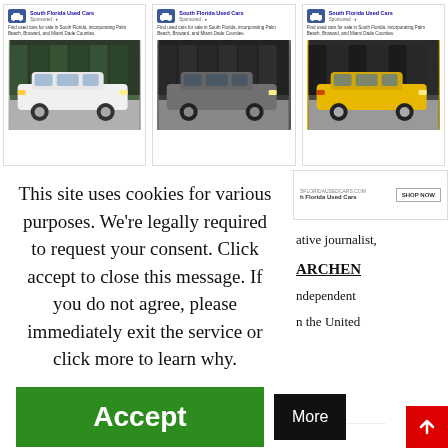[Figure (screenshot): Three advertisement cards for South Florida Used Cars, each showing a car image and ad text]
[Figure (screenshot): Partial right-side ad for South Florida Used Cars with SHOP NOW button]
This site uses cookies for various purposes. We're legally required to request your consent. Click accept to close this message. If you do not agree, please immediately exit the service or click more to learn why.
[Figure (screenshot): Green Accept button and black More button]
ative journalist,
ARCHEN
ndependent
n the United
States. Christopher works on a wide variety o